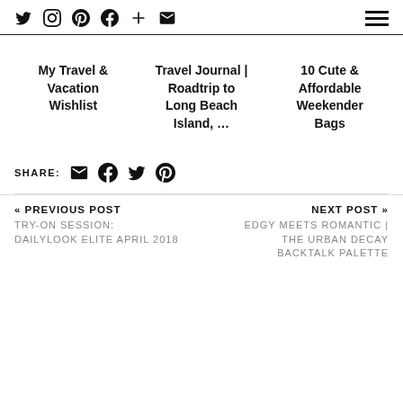Social icons: Twitter, Instagram, Pinterest, Facebook, Plus, Email; Hamburger menu
My Travel & Vacation Wishlist
Travel Journal | Roadtrip to Long Beach Island, ...
10 Cute & Affordable Weekender Bags
SHARE:
« PREVIOUS POST
TRY-ON SESSION: DAILYLOOK ELITE APRIL 2018
NEXT POST »
EDGY MEETS ROMANTIC | THE URBAN DECAY BACKTALK PALETTE